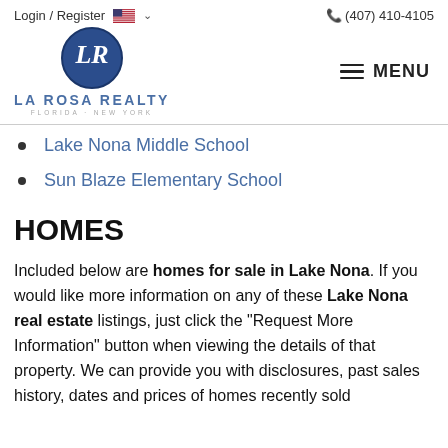Login / Register  (407) 410-4105
[Figure (logo): La Rosa Realty logo — circular blue emblem with LR monogram, text 'LA ROSA REALTY' and 'FLORIDA · NEW YORK' below]
Lake Nona Middle School
Sun Blaze Elementary School
HOMES
Included below are homes for sale in Lake Nona. If you would like more information on any of these Lake Nona real estate listings, just click the "Request More Information" button when viewing the details of that property. We can provide you with disclosures, past sales history, dates and prices of homes recently sold